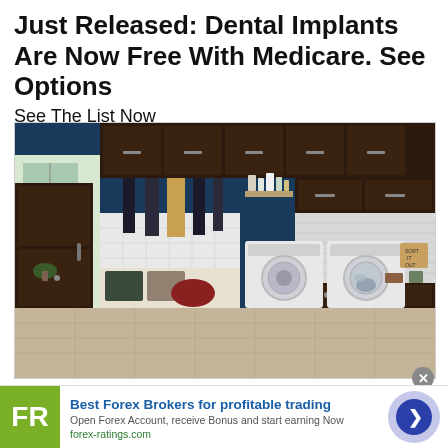Just Released: Dental Implants Are Now Free With Medicare. See Options
See The List Now
Dental Implants on Medicare | Sponsored
[Figure (photo): Interior photo of a modern laundry/mudroom with dark espresso cabinetry, white washer and dryer appliances, coat hooks with hanging coats, bench seating, and decorative shelving against a navy blue accent wall.]
[Figure (infographic): Advertisement banner for forex-ratings.com: FR logo in olive/green square, headline 'Best Forex Brokers for profitable trading', description text, forex-ratings.com URL, and a blue arrow button circle.]